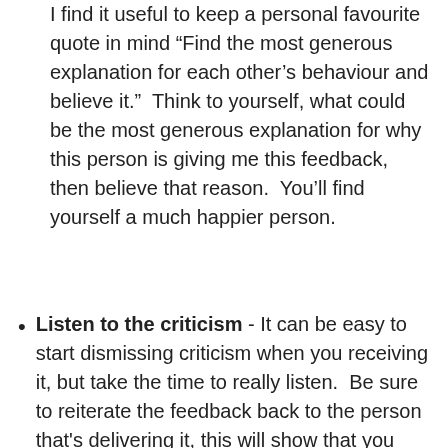I find it useful to keep a personal favourite quote in mind “Find the most generous explanation for each other’s behaviour and believe it.”  Think to yourself, what could be the most generous explanation for why this person is giving me this feedback, then believe that reason.  You’ll find yourself a much happier person.
Listen to the criticism - It can be easy to start dismissing criticism when you receiving it, but take the time to really listen.  Be sure to reiterate the feedback back to the person that's delivering it, this will show that you have heard their concerns and that